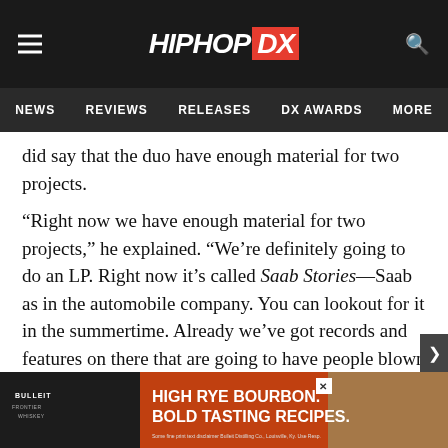HIPHOP DX — NEWS | REVIEWS | RELEASES | DX AWARDS | MORE
did say that the duo have enough material for two projects.
“Right now we have enough material for two projects,” he explained. “We’re definitely going to do an LP. Right now it’s called Saab Stories—Saab as in the automobile company. You can lookout for it in the summertime. Already we’ve got records and features on there that are going to have people blown away at the fact that we’re working with these artists. We have shit on there that they’re not even ready for. We got a lot of surprises.”
(April 18)
UPDA ... twitter.
[Figure (other): Bulleit Bourbon advertisement banner: HIGH RYE BOURBON. BOLD TASTING RECIPES.]